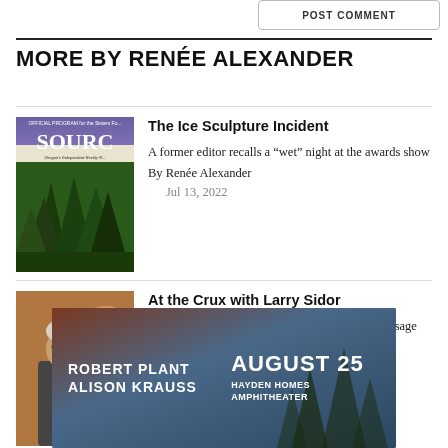POST COMMENT
MORE BY RENÉE ALEXANDER
The Ice Sculpture Incident
A former editor recalls a “wet” night at the awards show
By Renée Alexander
Jul 13, 2022
At the Crux with Larry Sidor
Crux Fermentation’s founder, brewmaster shares sage advice
[Figure (photo): Source newspaper cover with trees in background]
[Figure (photo): Larry Sidor standing next to brewing still]
[Figure (photo): Advertisement: Robert Plant Alison Krauss - August 25 - Hayden Homes Amphitheater]